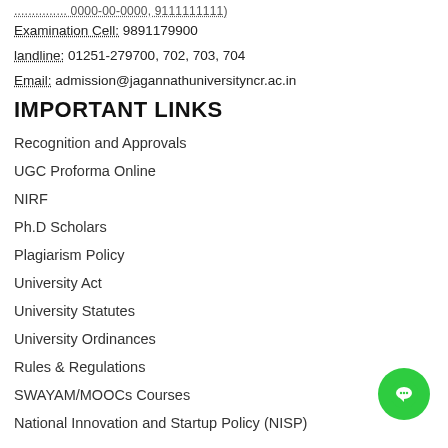............... 0000-00-0000, 9111111111)
Examination Cell: 9891179900
landline: 01251-279700, 702, 703, 704
Email: admission@jagannathuniversityncr.ac.in
IMPORTANT LINKS
Recognition and Approvals
UGC Proforma Online
NIRF
Ph.D Scholars
Plagiarism Policy
University Act
University Statutes
University Ordinances
Rules & Regulations
SWAYAM/MOOCs Courses
National Innovation and Startup Policy (NISP)
Anti Ragging Committee
Training and Placement Committee